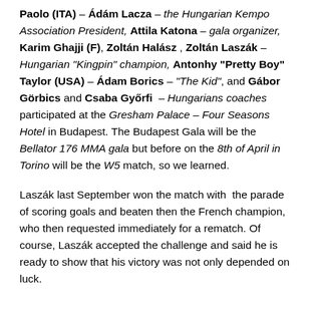Paolo (ITA) – Ádám Lacza – the Hungarian Kempo Association President, Attila Katona – gala organizer, Karim Ghajji (F), Zoltán Halász , Zoltán Laszák – Hungarian "Kingpin" champion, Antonhy "Pretty Boy" Taylor (USA) – Ádam Borics – "The Kid", and Gábor Görbics and Csaba Győrfi – Hungarians coaches participated at the Gresham Palace – Four Seasons Hotel in Budapest. The Budapest Gala will be the Bellator 176 MMA gala but before on the 8th of April in Torino will be the W5 match, so we learned.
Laszák last September won the match with the parade of scoring goals and beaten then the French champion, who then requested immediately for a rematch. Of course, Laszák accepted the challenge and said he is ready to show that his victory was not only depended on luck.